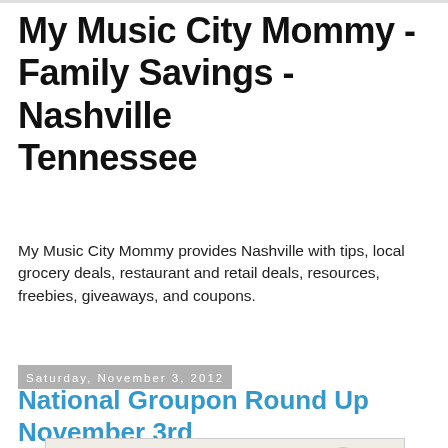My Music City Mommy - Family Savings - Nashville Tennessee
My Music City Mommy provides Nashville with tips, local grocery deals, restaurant and retail deals, resources, freebies, giveaways, and coupons.
Saturday, November 3, 2012
National Groupon Round Up November 3rd
[Figure (photo): Three vintage brown leather footballs arranged together, partially visible at the bottom of the page]